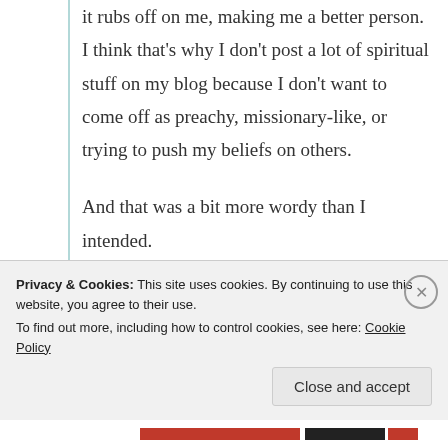it rubs off on me, making me a better person. I think that's why I don't post a lot of spiritual stuff on my blog because I don't want to come off as preachy, missionary-like, or trying to push my beliefs on others.
And that was a bit more wordy than I intended.
★ Like
↳ Reply
Privacy & Cookies: This site uses cookies. By continuing to use this website, you agree to their use. To find out more, including how to control cookies, see here: Cookie Policy
Close and accept